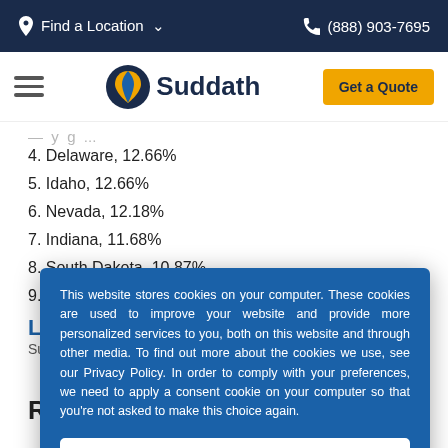Find a Location   (888) 903-7695
[Figure (logo): Suddath company logo with navigation bar including hamburger menu and Get a Quote button]
4. Delaware, 12.66%
5. Idaho, 12.66%
6. Nevada, 12.18%
7. Indiana, 11.68%
8. South Dakota, 10.87%
9. West Virginia, 10.53%
This website stores cookies on your computer. These cookies are used to improve your website and provide more personalized services to you, both on this website and through other media. To find out more about the cookies we use, see our Privacy Policy. In order to comply with your preferences, we need to apply a consent cookie on your computer so that you're not asked to make this choice again.
Accept